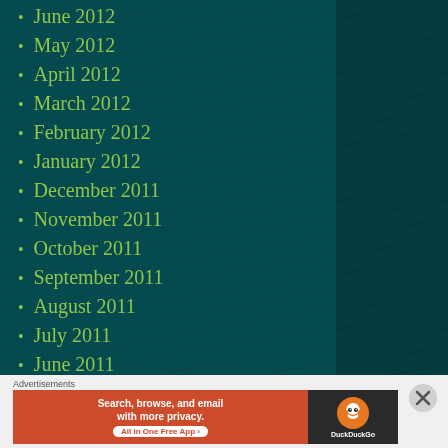June 2012
May 2012
April 2012
March 2012
February 2012
January 2012
December 2011
November 2011
October 2011
September 2011
August 2011
July 2011
June 2011
Advertisements
[Figure (screenshot): DuckDuckGo advertisement banner: Search, browse, and email with more privacy. All in One Free App]